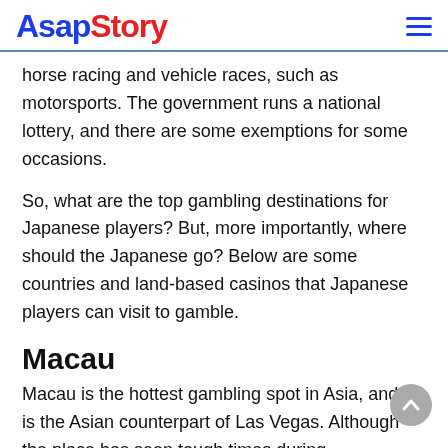AsapStory
horse racing and vehicle races, such as motorsports. The government runs a national lottery, and there are some exemptions for some occasions.
So, what are the top gambling destinations for Japanese players? But, more importantly, where should the Japanese go? Below are some countries and land-based casinos that Japanese players can visit to gamble.
Macau
Macau is the hottest gambling spot in Asia, and it is the Asian counterpart of Las Vegas. Although the place has seen tough times during